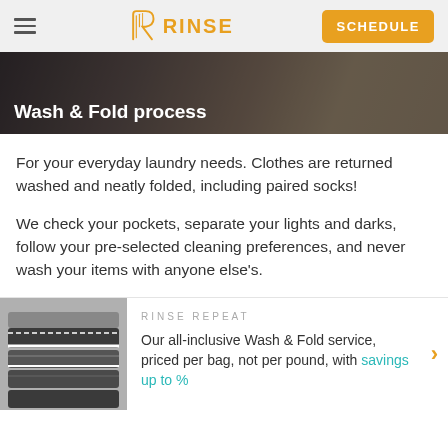RINSE — SCHEDULE
Wash & Fold process
For your everyday laundry needs. Clothes are returned washed and neatly folded, including paired socks!
We check your pockets, separate your lights and darks, follow your pre-selected cleaning preferences, and never wash your items with anyone else's.
RINSE REPEAT
Our all-inclusive Wash & Fold service, priced per bag, not per pound, with savings up to %